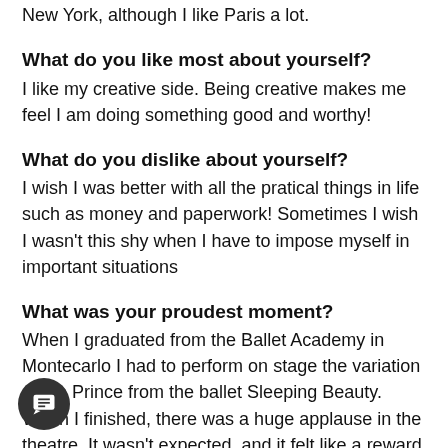New York, although I like Paris a lot.
What do you like most about yourself?
I like my creative side. Being creative makes me feel I am doing something good and worthy!
What do you dislike about yourself?
I wish I was better with all the pratical things in life such as money and paperwork! Sometimes I wish I wasn't this shy when I have to impose myself in important situations
What was your proudest moment?
When I graduated from the Ballet Academy in Montecarlo I had to perform on stage the variation of the Prince from the ballet Sleeping Beauty. When I finished, there was a huge applause in the theatre. It wasn't expected, and it felt like a reward for me and